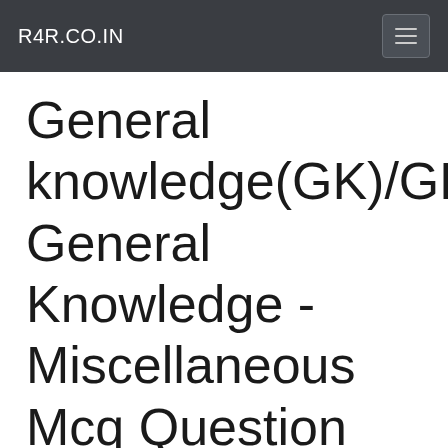R4R.CO.IN
General knowledge(GK)/GK General Knowledge - Miscellaneous Mcq Question Set 1 Sample Test,Sample questions